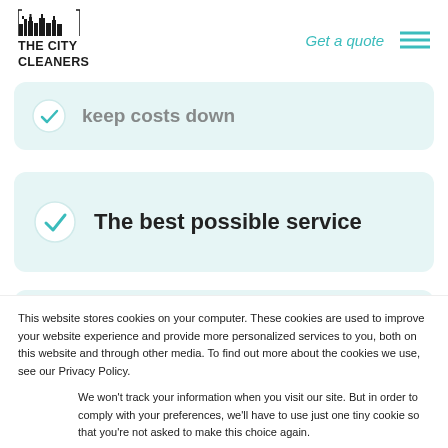THE CITY CLEANERS | Get a quote
keep costs down
The best possible service
Members of Client Tested Trusted Bi...
This website stores cookies on your computer. These cookies are used to improve your website experience and provide more personalized services to you, both on this website and through other media. To find out more about the cookies we use, see our Privacy Policy.
We won't track your information when you visit our site. But in order to comply with your preferences, we'll have to use just one tiny cookie so that you're not asked to make this choice again.